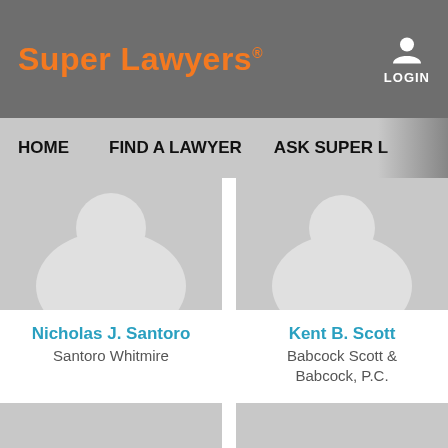Super Lawyers® LOGIN
HOME   FIND A LAWYER   ASK SUPER L...
[Figure (photo): Placeholder silhouette portrait image for Nicholas J. Santoro]
Nicholas J. Santoro
Santoro Whitmire
[Figure (photo): Placeholder silhouette portrait image for Kent B. Scott]
Kent B. Scott
Babcock Scott & Babcock, P.C.
[Figure (photo): Placeholder silhouette portrait image (unnamed lawyer, bottom left)]
[Figure (photo): Placeholder silhouette portrait image (unnamed lawyer, bottom right)]